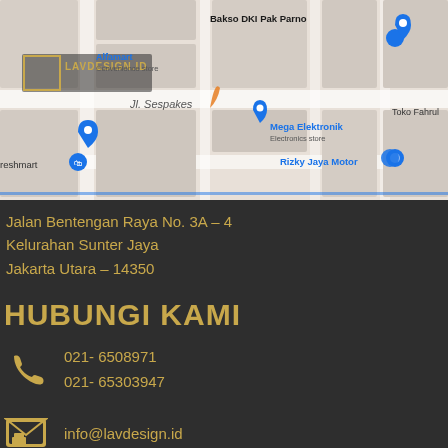[Figure (map): Google Maps screenshot showing area around Jalan Bentengan Raya, Sunter Jaya, Jakarta Utara. Visible landmarks include Bakso DKI Pak Parno, Alfamart Convenience store, Mega Elektronik Electronics store, Rizky Jaya Motor, Jl. Sespakes, Freshmart, Toko Fahrul. LAV DESIGN.ID watermark visible.]
Jalan Bentengan Raya No. 3A – 4
Kelurahan Sunter Jaya
Jakarta Utara – 14350
HUBUNGI KAMI
021- 6508971
021- 65303947
info@lavdesign.id